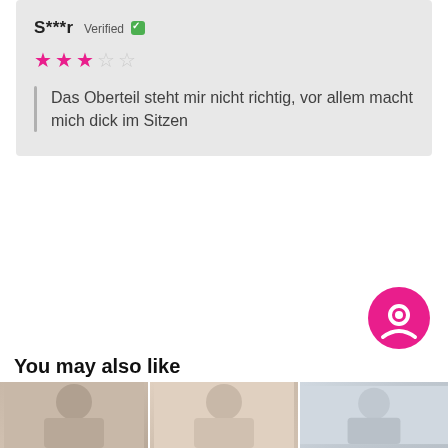S***r Verified ✓
★★★☆☆ (3 out of 5 stars)
Das Oberteil steht mir nicht richtig, vor allem macht mich dick im Sitzen
You may also like
[Figure (photo): Product images thumbnails at the bottom of the page]